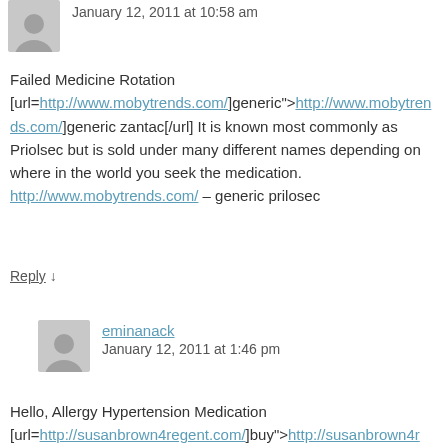January 12, 2011 at 10:58 am
Failed Medicine Rotation [url=http://www.mobytrends.com/]generic">http://www.mobytrends.com/]generic zantac[/url] It is known most commonly as Priolsec but is sold under many different names depending on where in the world you seek the medication. http://www.mobytrends.com/ – generic prilosec
Reply ↓
eminanack
January 12, 2011 at 1:46 pm
Hello, Allergy Hypertension Medication [url=http://susanbrown4regent.com/]buy">http://susanbrown4r